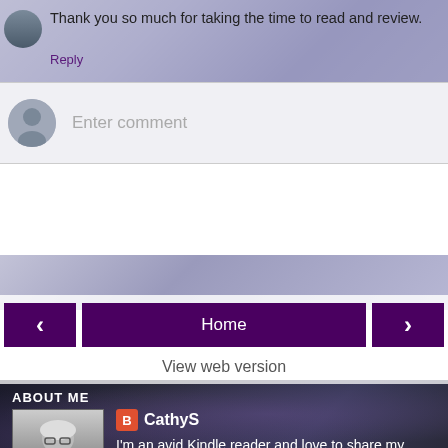Thank you so much for taking the time to read and review.
Reply
Enter comment
‹
Home
›
View web version
ABOUT ME
CathyS
I'm an avid Kindle reader and love to share my reviews. Although I have read and reviewed many different genres, my preferred ones are crime/thrillers/psychological thrillers/suspense. I'm much less interested in horror/dystopian/sci-fi, so I'm more likely to turn down any requests for the latter. I can't take on any more books currently as I have too many to review.